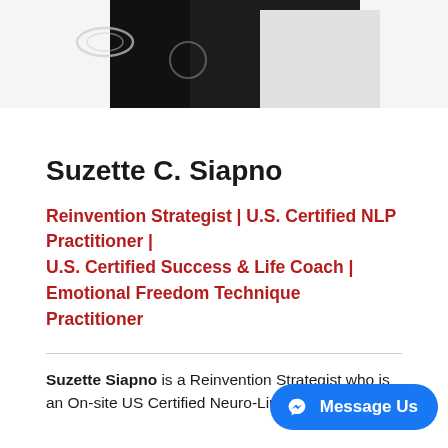[Figure (photo): Partial photo of a person wearing dark jacket/blazer over white shirt, cropped at top]
Suzette C. Siapno
Reinvention Strategist | U.S. Certified NLP Practitioner | U.S. Certified Success & Life Coach | Emotional Freedom Technique Practitioner
Suzette Siapno is a Reinvention Strategist who is an On-site US Certified Neuro-Linguistic